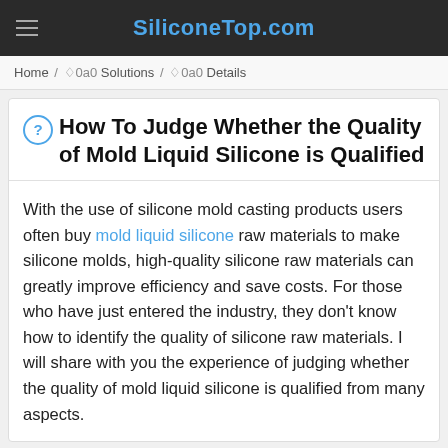SiliconeTop.com
Home / ◇0a0 Solutions / ◇0a0 Details
❓ How To Judge Whether the Quality of Mold Liquid Silicone is Qualified
With the use of silicone mold casting products users often buy mold liquid silicone raw materials to make silicone molds, high-quality silicone raw materials can greatly improve efficiency and save costs. For those who have just entered the industry, they don't know how to identify the quality of silicone raw materials. I will share with you the experience of judging whether the quality of mold liquid silicone is qualified from many aspects.